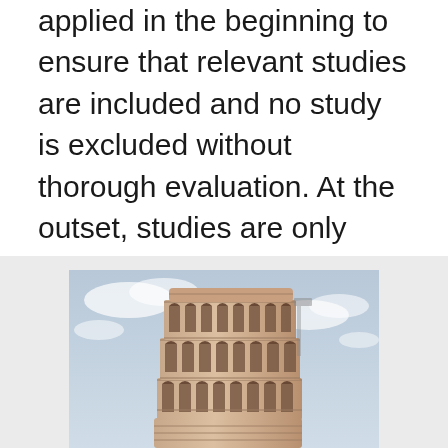applied in the beginning to ensure that relevant studies are included and no study is excluded without thorough evaluation. At the outset, studies are only excluded if they clearly meet one or more of the exclusion criteria. For example, if the focus of review is children, then studies with adult participants 2011-04-27 Inclusion and exclusion of children with special. Ohsu research calendar of events research. Dissertation on inclusion – Give your essays to the most talented writers.
[Figure (photo): Photograph of the upper portion of the Leaning Tower of Pisa showing its characteristic arched colonnade tiers and slight lean against a cloudy sky]